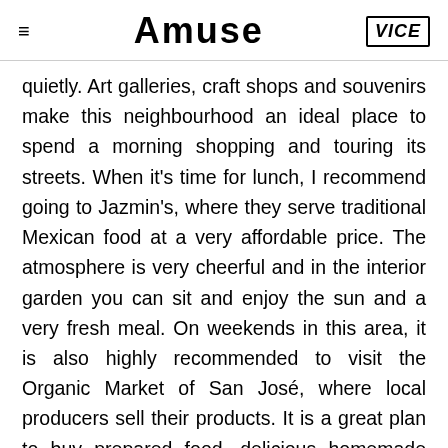Amuse | VICE
quietly. Art galleries, craft shops and souvenirs make this neighbourhood an ideal place to spend a morning shopping and touring its streets. When it's time for lunch, I recommend going to Jazmin's, where they serve traditional Mexican food at a very affordable price. The atmosphere is very cheerful and in the interior garden you can sit and enjoy the sun and a very fresh meal. On weekends in this area, it is also highly recommended to visit the Organic Market of San José, where local producers sell their products. It is a great plan to buy prepared food, delicious homemade desserts and picnics on the lawn. There is also live music, activities for children and workshops,